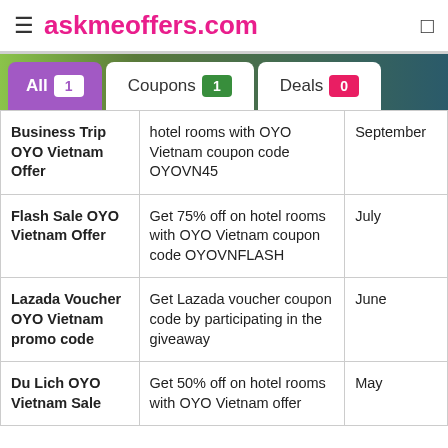askmeoffers.com
| Offer Name | Description | Month |
| --- | --- | --- |
| Business Trip OYO Vietnam Offer | Get 45% off on hotel rooms with OYO Vietnam coupon code OYOVN45 | September |
| Flash Sale OYO Vietnam Offer | Get 75% off on hotel rooms with OYO Vietnam coupon code OYOVNFLASH | July |
| Lazada Voucher OYO Vietnam promo code | Get Lazada voucher coupon code by participating in the giveaway | June |
| Du Lich OYO Vietnam Sale | Get 50% off on hotel rooms with OYO Vietnam offer | May |